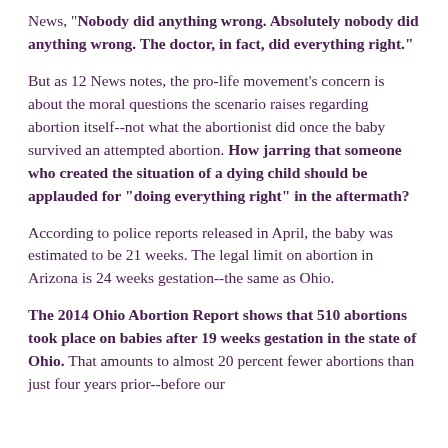News, "Nobody did anything wrong. Absolutely nobody did anything wrong. The doctor, in fact, did everything right."
But as 12 News notes, the pro-life movement's concern is about the moral questions the scenario raises regarding abortion itself--not what the abortionist did once the baby survived an attempted abortion. How jarring that someone who created the situation of a dying child should be applauded for "doing everything right" in the aftermath?
According to police reports released in April, the baby was estimated to be 21 weeks. The legal limit on abortion in Arizona is 24 weeks gestation--the same as Ohio.
The 2014 Ohio Abortion Report shows that 510 abortions took place on babies after 19 weeks gestation in the state of Ohio. That amounts to almost 20 percent fewer abortions than just four years prior--before our